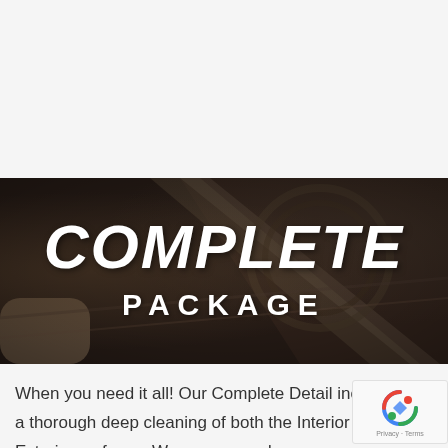[Figure (photo): Dark banner image showing a mechanic using a polishing/detailing tool on a vehicle surface, with white bold text overlaid reading 'COMPLETE' on top and 'PACKAGE' below]
COMPLETE
PACKAGE
When you need it all! Our Complete Detail includes a thorough deep cleaning of both the Interior and Exterior surfaces. We recommend